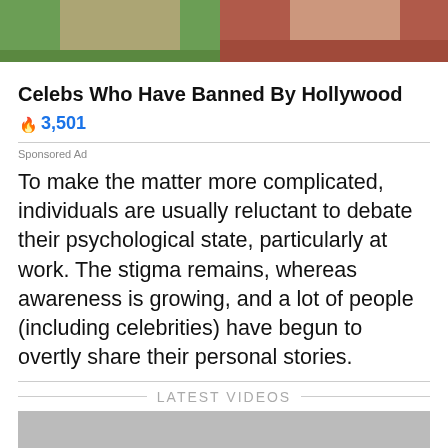[Figure (photo): Photo strip showing two people cropped at top of page — left person in casual outfit outdoors, right person in red top]
Celebs Who Have Banned By Hollywood
🔥 3,501
Sponsored Ad
To make the matter more complicated, individuals are usually reluctant to debate their psychological state, particularly at work. The stigma remains, whereas awareness is growing, and a lot of people (including celebrities) have begun to overtly share their personal stories.
LATEST VIDEOS
[Figure (screenshot): Video thumbnail placeholder (gray rectangle)]